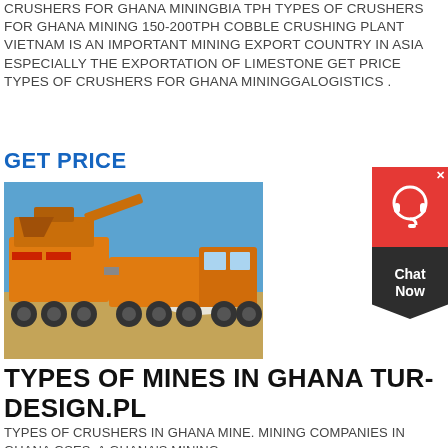CRUSHERS FOR GHANA MININGBIA TPH TYPES OF CRUSHERS FOR GHANA MINING 150-200TPH COBBLE CRUSHING PLANT VIETNAM IS AN IMPORTANT MINING EXPORT COUNTRY IN ASIA ESPECIALLY THE EXPORTATION OF LIMESTONE GET PRICE TYPES OF CRUSHERS FOR GHANA MININGGALOGISTICS .
GET PRICE
[Figure (photo): Orange mobile crushing plant with truck in a sandy/desert mining environment under a clear blue sky]
[Figure (infographic): Chat Now widget: red circle with headset icon, dark chevron shape with text 'Chat Now', X close button]
TYPES OF MINES IN GHANA TUR-DESIGN.PL
TYPES OF CRUSHERS IN GHANA MINE. MINING COMPANIES IN GHANA GSES. A GHANA'S MINING